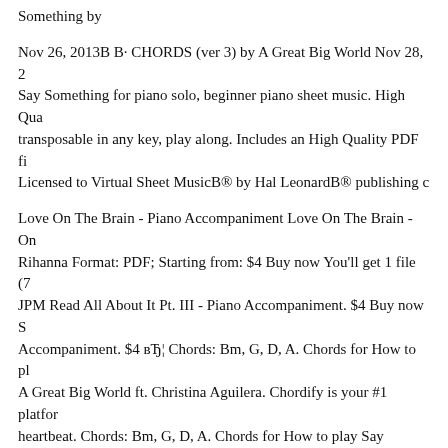Something by
Nov 26, 2013В В· CHORDS (ver 3) by A Great Big World Nov 28, 2 Say Something for piano solo, beginner piano sheet music. High Qua transposable in any key, play along. Includes an High Quality PDF fi Licensed to Virtual Sheet MusicВ® by Hal LeonardВ® publishing c
Love On The Brain - Piano Accompaniment Love On The Brain - On Rihanna Format: PDF; Starting from: $4 Buy now You'll get 1 file (7 JPM Read All About It Pt. III - Piano Accompaniment. $4 Buy now S Accompaniment. $4 вЂ¦ Chords: Bm, G, D, A. Chords for How to pl A Great Big World ft. Christina Aguilera. Chordify is your #1 platfor heartbeat. Chords: Bm, G, D, A. Chords for How to play Say Someth World ft. Christina Aguilera. Chordify is your #1 platform for chords
Download and Print Say Something sheet music for Piano & Vocal b Christina Aguilera from Sheet Music Direct. Musical Equipment Nam something: PIANO ACCORDION DRUM ACCESSORIES - STUD GUITAR * Children Drums 3 - 4 years $5.51 4.99в,¬ Piano Accomp